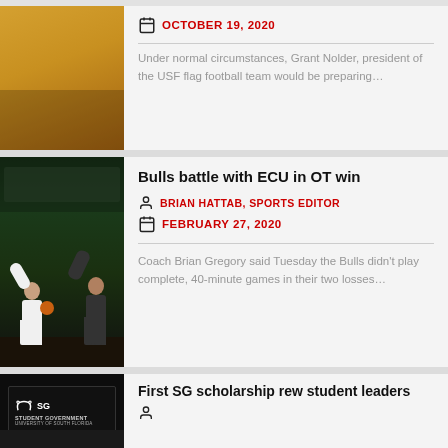OCTOBER 19, 2020
Under normal circumstances, Grant Nolder, president of the USF flag football team would be preparing…
Bulls battle with ECU in OT win
BRIAN HATTAB, SPORTS EDITOR
FEBRUARY 27, 2020
Coach Brian Gregory said Tuesday the Bulls didn't play complete, 40-minute games in their two losses…
First SG scholarship rew student leaders
[Figure (photo): Basketball game photo showing USF player in white jersey handling ball against defender in dark jersey, green court visible]
[Figure (photo): Student Government building entrance sign reading SG STUDENT GOVERNMENT UNIVERSITY OF SOUTH FLORIDA]